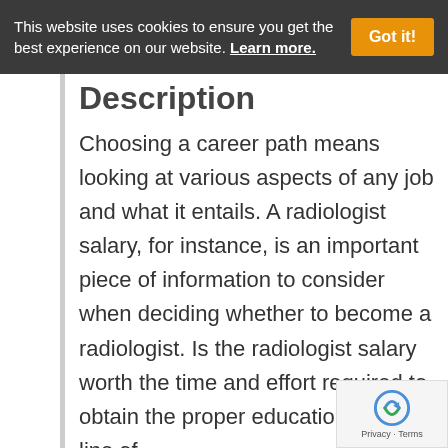This website uses cookies to ensure you get the best experience on our website. Learn more.
Description
Choosing a career path means looking at various aspects of any job and what it entails. A radiologist salary, for instance, is an important piece of information to consider when deciding whether to become a radiologist. Is the radiologist salary worth the time and effort required to obtain the proper education for this line of .